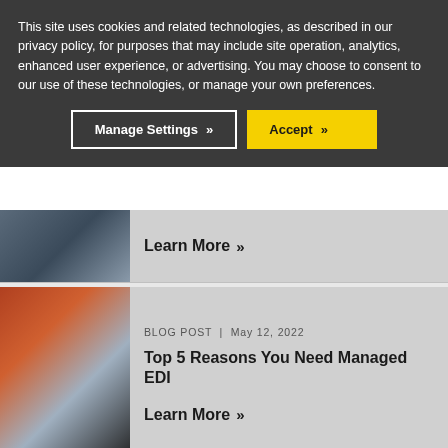This site uses cookies and related technologies, as described in our privacy policy, for purposes that may include site operation, analytics, enhanced user experience, or advertising. You may choose to consent to our use of these technologies, or manage your own preferences.
Manage Settings
Accept
Learn More »
BLOG POST | May 12, 2022
Top 5 Reasons You Need Managed EDI
Learn More »
BLOG POST | Mar 28, 2022